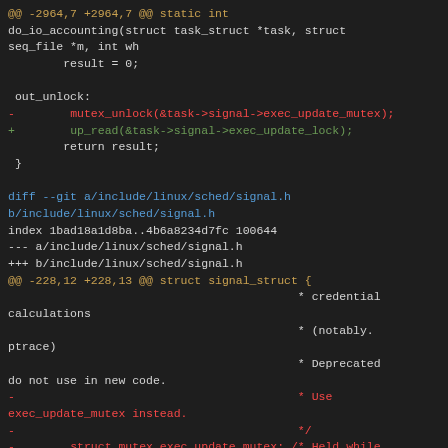Code diff showing changes to do_io_accounting function and include/linux/sched/signal.h file, replacing mutex_unlock with up_read and exec_update_mutex with exec_update_lock